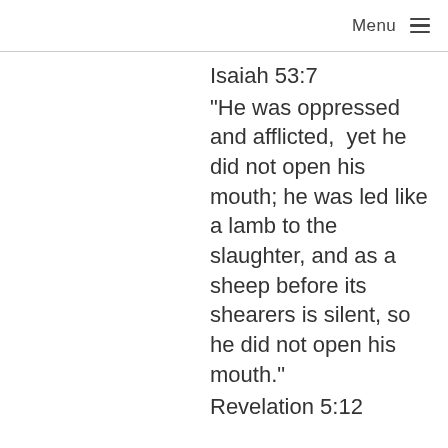Menu ≡
Isaiah 53:7
"He was oppressed and afflicted,  yet he did not open his mouth; he was led like a lamb to the slaughter, and as a sheep before its shearers is silent, so he did not open his mouth."
Revelation 5:12